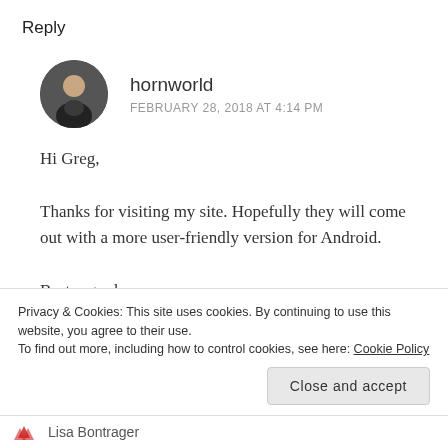Reply
hornworld
FEBRUARY 28, 2018 AT 4:14 PM
Hi Greg,

Thanks for visiting my site. Hopefully they will come out with a more user-friendly version for Android.

Best regards,

James Boldin
Privacy & Cookies: This site uses cookies. By continuing to use this website, you agree to their use.
To find out more, including how to control cookies, see here: Cookie Policy
Close and accept
Lisa Bontrager